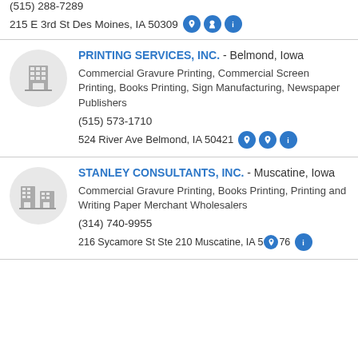(515) 288-7289
215 E 3rd St Des Moines, IA 50309
PRINTING SERVICES, INC. - Belmond, Iowa
Commercial Gravure Printing, Commercial Screen Printing, Books Printing, Sign Manufacturing, Newspaper Publishers
(515) 573-1710
524 River Ave Belmond, IA 50421
STANLEY CONSULTANTS, INC. - Muscatine, Iowa
Commercial Gravure Printing, Books Printing, Printing and Writing Paper Merchant Wholesalers
(314) 740-9955
216 Sycamore St Ste 210 Muscatine, IA 5076